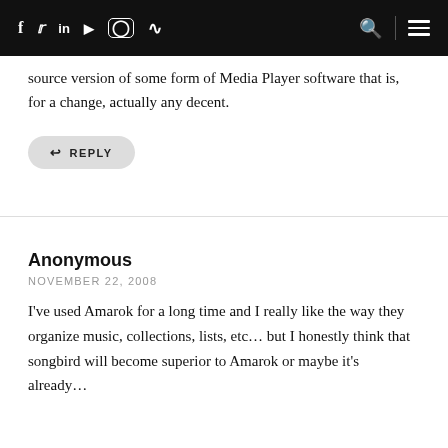f  Twitter  in  YouTube  Instagram  RSS | Search | Menu
source version of some form of Media Player software that is, for a change, actually any decent.
↩ REPLY
Anonymous
NOVEMBER 22, 2008
I've used Amarok for a long time and I really like the way they organize music, collections, lists, etc… but I honestly think that songbird will become superior to Amarok or maybe it's already…